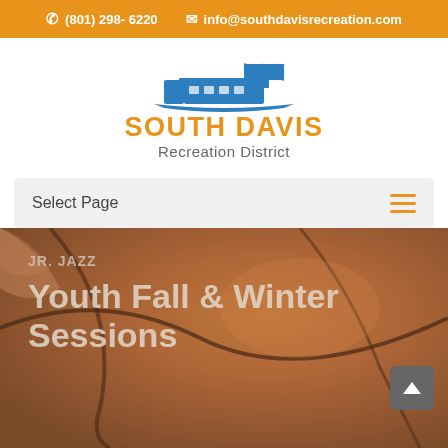(801) 298-6220  info@southdavisrecreation.com
[Figure (logo): South Davis Recreation District logo with blue stylized building/structure above orange bold text SOUTH DAVIS and gray text Recreation District]
Select Page
JR. JAZZ
Youth Fall & Winter Sessions
[Figure (photo): Close-up background photo of a basketball showing the leather texture and seams]